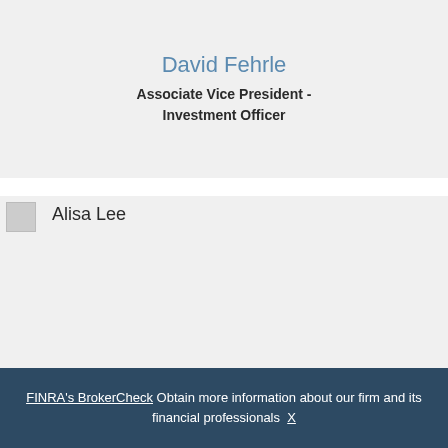David Fehrle
Associate Vice President - Investment Officer
[Figure (photo): Photo of Alisa Lee (broken/missing image icon shown)]
Alisa Lee
FINRA's BrokerCheck Obtain more information about our firm and its financial professionals  X